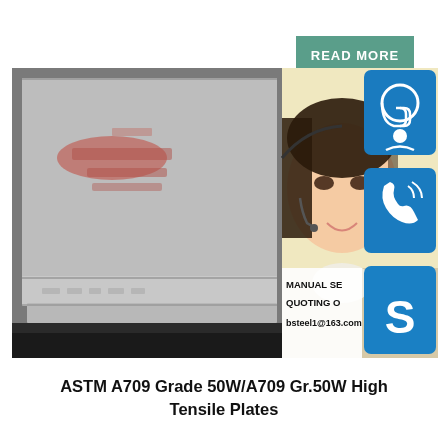[Figure (screenshot): Green 'READ MORE' button]
[Figure (photo): Composite image: steel plates photo on left with red markings, customer service representative smiling with headset on right, three blue icon boxes (headset/online support, phone, Skype) on far right, and contact info overlay with 'MANUAL SE...', 'QUOTING O...', 'bsteel1@163.com']
ASTM A709 Grade 50W/A709 Gr.50W High Tensile Plates